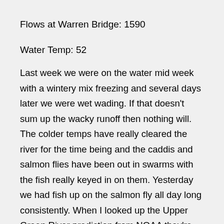Flows at Warren Bridge: 1590
Water Temp: 52
Last week we were on the water mid week with a wintery mix freezing and several days later we were wet wading. If that doesn't sum up the wacky runoff then nothing will. The colder temps have really cleared the river for the time being and the caddis and salmon flies have been out in swarms with the fish really keyed in on them. Yesterday we had fish up on the salmon fly all day long consistently. When I looked up the Upper Green River prediction from NOAA they're showing another resurge of runoff so we're going to wait and see what happens. Please see the chart below with more information about this...